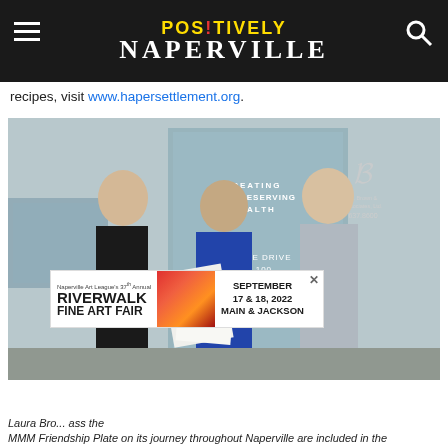POSITIVELY NAPERVILLE
recipes, visit www.hapersettlement.org.
[Figure (photo): Three people standing outside a building with glass door reading 'Creating and Preserving Wealth', '28 Forgue Drive Suite 100', examining papers and documents. An advertisement banner for Naperville Art League's 37th Annual Riverwalk Fine Art Fair, September 17 & 18 2022, Main & Jackson overlays the bottom of the photo.]
Laura Bro... ass the MMM Friendship Plate on its journey throughout Naperville are included in the